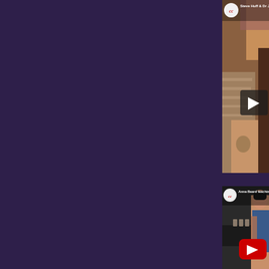[Figure (screenshot): YouTube video thumbnail for 'Steve Huff & Dr John Lennox' showing a man with tattoos on his arm leaning over equipment, with a play button overlay. Has a CC (Cosmic Consciousness) logo in the top left.]
[Figure (screenshot): YouTube video thumbnail for 'Anna Beard teaching Ballet f...' showing a woman with tattoos wearing a blue leotard, with a YouTube play button overlay. Has a CC logo in the top left.]